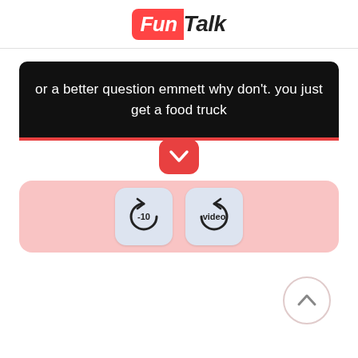FunTalk
or a better question emmett why don't. you just get a food truck
[Figure (screenshot): Control panel with two buttons: a rewind -10 seconds button and a video replay button, on a pink background]
[Figure (other): Scroll to top button, a circle with an upward chevron]